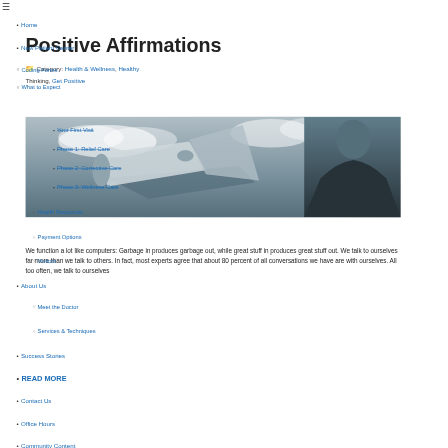≡
Home
Positive Affirmations
New Patient Center
Category: Health & Wellness, Healthy Thinking, Get Positive
Coding Forms
What to Expect
Your First Visit
Phase 1: Relief Care
Phase 2: Corrective Care
Phase 3: Wellness Care
Health Resources
Payment Options
Visitors
About Us
Meet the Doctor
Services & Techniques
Success Stories
READ MORE
Contact Us
Office Hours
Community Content
[Figure (photo): Man in suit shouting into a megaphone against a cloudy sky background]
We function a lot like computers: Garbage in produces garbage out, while great stuff in produces great stuff out. We talk to ourselves far more than we talk to others. In fact, most experts agree that about 80 percent of all conversations we have are with ourselves. All too often, we talk to ourselves